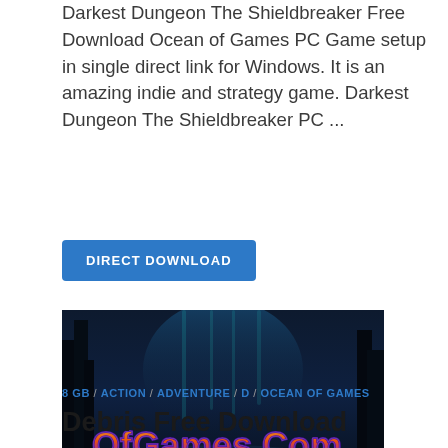Darkest Dungeon The Shieldbreaker Free Download Ocean of Games PC Game setup in single direct link for Windows. It is an amazing indie and strategy game. Darkest Dungeon The Shieldbreaker PC ...
[Figure (screenshot): Dark atmospheric game screenshot with blue/teal lighting showing a dungeon or forest scene. 'OfGames.Com' watermark logo displayed prominently in colorful orange/yellow/purple gradient text at the bottom of the image.]
8 GB / ACTION / ADVENTURE / D / OCEAN OF GAMES
Debris Free Download